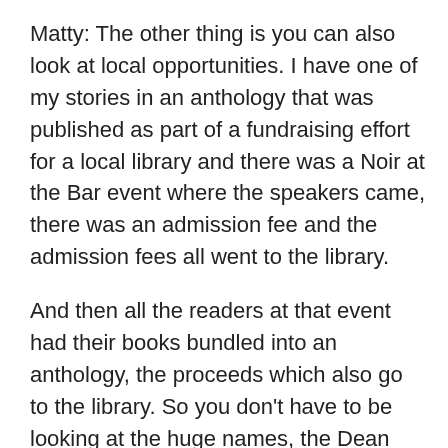Matty: The other thing is you can also look at local opportunities. I have one of my stories in an anthology that was published as part of a fundraising effort for a local library and there was a Noir at the Bar event where the speakers came, there was an admission fee and the admission fees all went to the library.
And then all the readers at that event had their books bundled into an anthology, the proceeds which also go to the library. So you don't have to be looking at the huge names, the Dean Wesley Smiths and the Kristine Kathryn Ruschs of the world, you can find those opportunities much more locally too.
Joanna: You can also organize them yourself, using